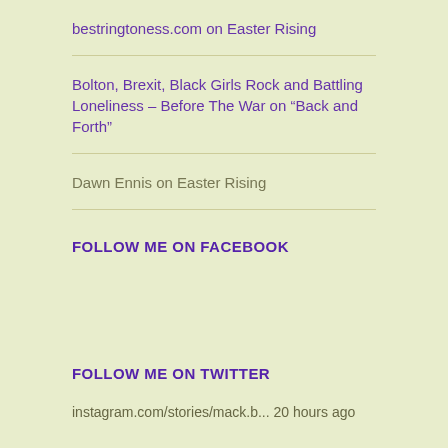bestringtoness.com on Easter Rising
Bolton, Brexit, Black Girls Rock and Battling Loneliness – Before The War on “Back and Forth”
Dawn Ennis on Easter Rising
FOLLOW ME ON FACEBOOK
FOLLOW ME ON TWITTER
instagram.com/stories/mack.b... 20 hours ago